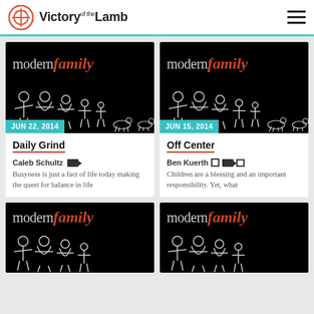Victory of the Lamb
[Figure (screenshot): Modern Family series card with date JUN 22, 2014, title Daily Grind, author Caleb Schultz]
[Figure (screenshot): Modern Family series card with date JUN 15, 2014, title Off Center, author Ben Kuerth]
[Figure (screenshot): Modern Family series card partial view bottom left]
[Figure (screenshot): Modern Family series card partial view bottom right]